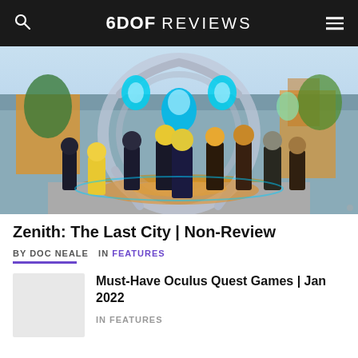6DOF REVIEWS
[Figure (screenshot): Screenshot from Zenith: The Last City VR game showing anime-style characters gathered around a glowing blue magical structure in a futuristic city environment]
Zenith: The Last City | Non-Review
BY DOC NEALE  IN FEATURES
Must-Have Oculus Quest Games | Jan 2022
IN FEATURES